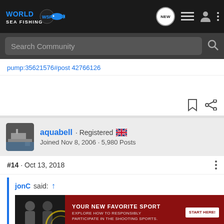World Sea Fishing (WSF) - navigation bar with search
pump:35621576#post 42766126
[Figure (screenshot): User profile card for aquabell, Registered, UK flag, Joined Nov 8, 2006, 5,980 Posts]
#14 · Oct 13, 2018
jonC said: ↑  That's ... that accum... S
[Figure (photo): Advertisement overlay: YOUR NEW FAVORITE SPORT. EXPLORE HOW TO RESPONSIBLY PARTICIPATE IN THE SHOOTING SPORTS. START HERE!]